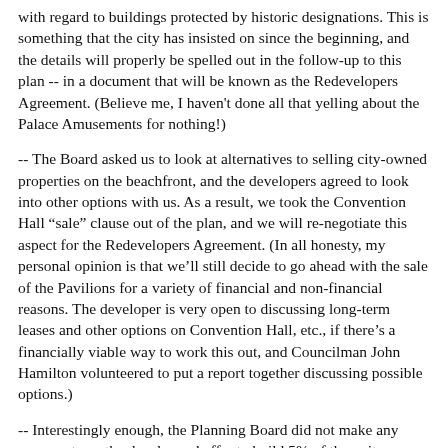with regard to buildings protected by historic designations.  This is something that the city has insisted on since the beginning, and the details will properly be spelled out in the follow-up to this plan -- in a document that will be known as the Redevelopers Agreement.  (Believe me, I haven't done all that yelling about the Palace Amusements for nothing!)
-- The Board asked us to look at alternatives to selling city-owned properties on the beachfront, and the developers agreed to look into other options with us.  As a result, we took the Convention Hall "sale" clause out of the plan, and we will re-negotiate this aspect for the Redevelopers Agreement.  (In all honesty, my personal opinion is that we'll still decide to go ahead with the sale of the Pavilions for a variety of financial and non-financial reasons.  The developer is very open to discussing long-term leases and other options on Convention Hall, etc., if there's a financially viable way to work this out, and Councilman John Hamilton volunteered to put a report together discussing possible options.)
-- Interestingly enough, the Planning Board did not make any comments on the developers' offer to build 5% of the units as affordable housing